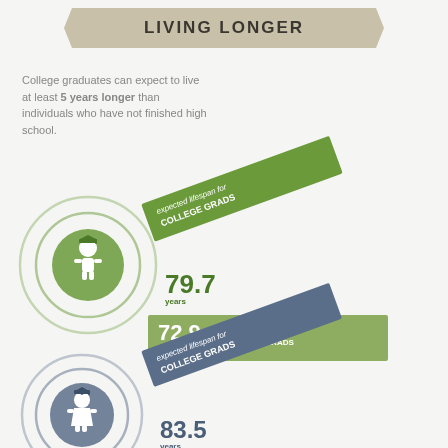LIVING LONGER
College graduates can expect to live at least 5 years longer than individuals who have not finished high school.
[Figure (infographic): Infographic showing expected lifespan for college grads vs less than HS grads. Green male figure with concentric circles. 79.7 years for college grads, 72.9 years for less than HS grads. Blue female figure with concentric circles. 83.5 years for college grads, 78.4 years for less than HS grads.]